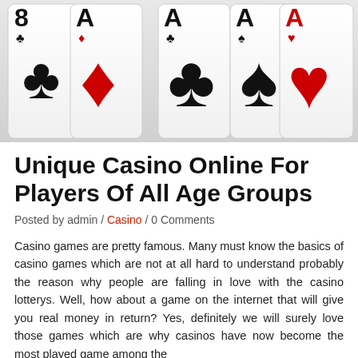[Figure (illustration): Five playing cards fanned out: 8 of clubs, Ace of diamonds, Ace of clubs, Ace of spades, Ace of hearts, shown against a light gradient background]
Unique Casino Online For Players Of All Age Groups
Posted by admin / Casino / 0 Comments
Casino games are pretty famous. Many must know the basics of casino games which are not at all hard to understand probably the reason why people are falling in love with the casino lotterys. Well, how about a game on the internet that will give you real money in return? Yes, definitely we will surely love those games which are why casinos have now become the most played game among the